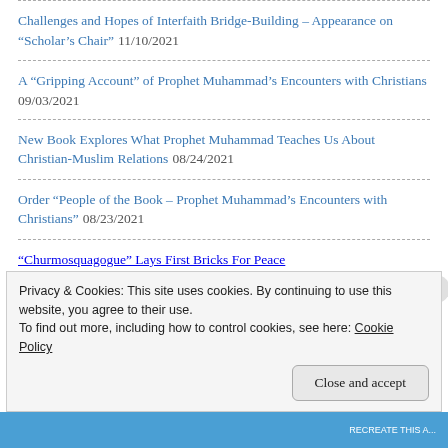Challenges and Hopes of Interfaith Bridge-Building – Appearance on “Scholar’s Chair” 11/10/2021
A “Gripping Account” of Prophet Muhammad’s Encounters with Christians 09/03/2021
New Book Explores What Prophet Muhammad Teaches Us About Christian-Muslim Relations 08/24/2021
Order “People of the Book – Prophet Muhammad’s Encounters with Christians” 08/23/2021
“Churmosquagogue” Lays First Bricks For Peace
Privacy & Cookies: This site uses cookies. By continuing to use this website, you agree to their use.
To find out more, including how to control cookies, see here: Cookie Policy
Close and accept